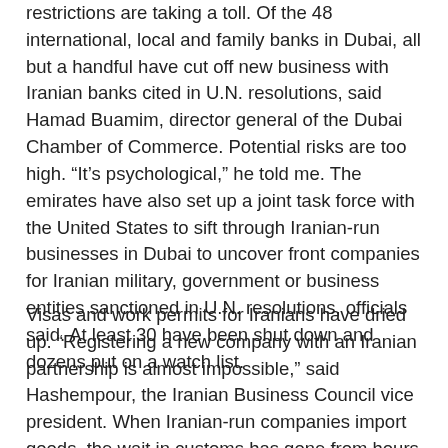restrictions are taking a toll. Of the 48 international, local and family banks in Dubai, all but a handful have cut off new business with Iranian banks cited in U.N. resolutions, said Hamad Buamim, director general of the Dubai Chamber of Commerce. Potential risks are too high. “It’s psychological,” he told me. The emirates have also set up a joint task force with the United States to sift through Iranian-run businesses in Dubai to uncover front companies for Iranian military, government or business entities sanctioned in U.N. resolutions, officials said. At least 30 have been shut down and dozens put on a watch list.
Visas and work permits for Iranians have dried up. “Registering a new company with an Iranian partnership is almost impossible,” said Hashempour, the Iranian Business Council vice president. When Iranian-run companies import goods, the wait in customs has gone from hours to days, even weeks. Passengers on hundreds of weekly flights between Iran and Dubai go through Terminal 2, where iris scans are taken — a practice not used at Terminal 1 for